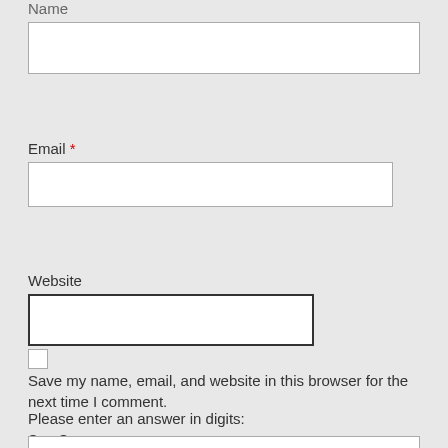Name
Email *
Website
Save my name, email, and website in this browser for the next time I comment.
Please enter an answer in digits: